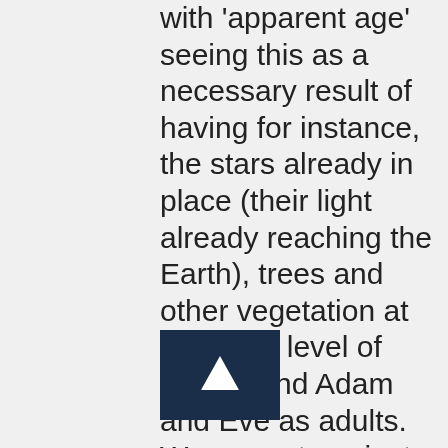with 'apparent age' seeing this as a necessary result of having for instance, the stars already in place (their light already reaching the Earth), trees and other vegetation at a mature level of growth and Adam and Eve as adults.  We are not against modern science and its scientific endeavors, but we do believe that the interpretation of their findings has been biased with the presupposition that there is no evidence of God (a creator).  As a result of this conclusion, we do not believe that man evolved from lower life-forms over an extended period of time and that the universe is relatively young in comparison to the estimates being